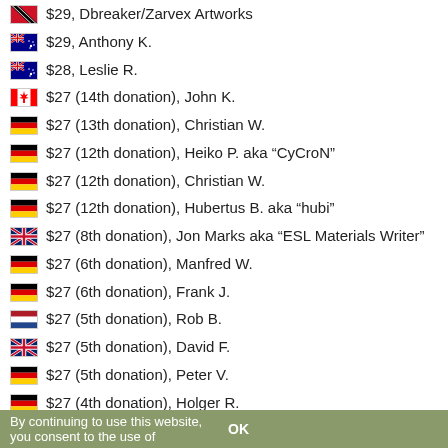$29, Dbreaker/Zarvex Artworks
$29, Anthony K.
$28, Leslie R.
$27 (14th donation), John K.
$27 (13th donation), Christian W.
$27 (12th donation), Heiko P. aka “CyCroN”
$27 (12th donation), Christian W.
$27 (12th donation), Hubertus B. aka “hubi”
$27 (8th donation), Jon Marks aka “ESL Materials Writer”
$27 (6th donation), Manfred W.
$27 (6th donation), Frank J.
$27 (5th donation), Rob B.
$27 (5th donation), David F.
$27 (5th donation), Peter V.
$27 (4th donation), Holger R.
$27 (3rd donation), Marco van den Berg
By continuing to use this website, you consent to the use of    OK